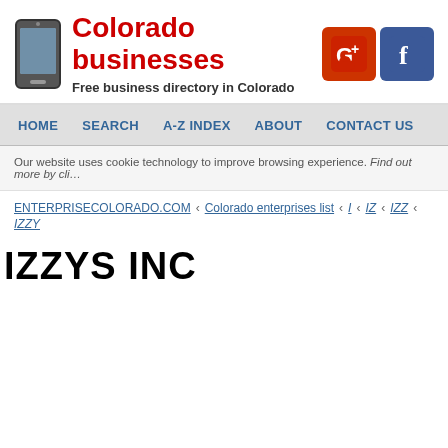Colorado businesses — Free business directory in Colorado
HOME  SEARCH  A-Z INDEX  ABOUT  CONTACT US
Our website uses cookie technology to improve browsing experience. Find out more by cli…
ENTERPRISECOLORADO.COM ‹ Colorado enterprises list ‹ I ‹ IZ ‹ IZZ ‹ IZZY
IZZYS INC